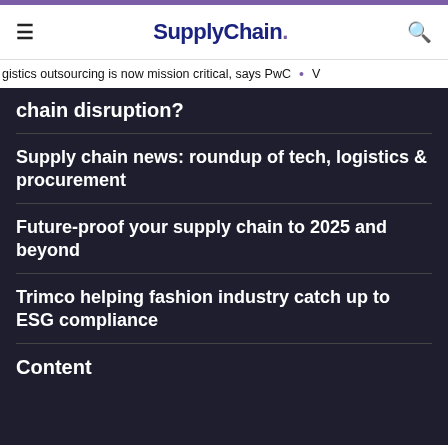SupplyChain.
gistics outsourcing is now mission critical, says PwC • V
chain disruption?
Supply chain news: roundup of tech, logistics & procurement
Future-proof your supply chain to 2025 and beyond
Trimco helping fashion industry catch up to ESG compliance
Content